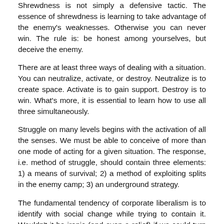Shrewdness is not simply a defensive tactic. The essence of shrewdness is learning to take advantage of the enemy's weaknesses. Otherwise you can never win. The rule is: be honest among yourselves, but deceive the enemy.
There are at least three ways of dealing with a situation. You can neutralize, activate, or destroy. Neutralize is to create space. Activate is to gain support. Destroy is to win. What's more, it is essential to learn how to use all three simultaneously.
Struggle on many levels begins with the activation of all the senses. We must be able to conceive of more than one mode of acting for a given situation. The response, i.e. method of struggle, should contain three elements: 1) a means of survival; 2) a method of exploiting splits in the enemy camp; 3) an underground strategy.
The fundamental tendency of corporate liberalism is to identify with social change while trying to contain it. Wouldn't it be ironic (and even a relief) if we could turn the threat of co-option into a means of survival?
The fear of co-option often leads people to shun the challenge of corporate liberals. Some of the purest revolutionaries prefer not to think about using the co-opter for their own purposes. Too often the mentality of the 'job' obscures the potential for subversion.